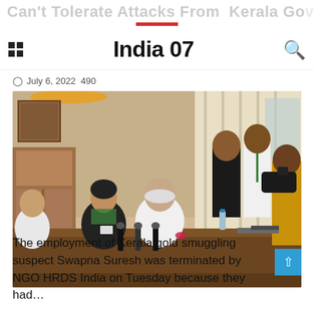Can't Tolerate Attacks From Kerala Go...
India 07
July 6, 2022  490
[Figure (photo): Group of people seated around a conference table in an office. A woman in black is speaking, next to an elderly man in white. Several people stand in the background, and journalists/photographers are visible on the right side.]
The employment of Kerala gold smuggling suspect Swapna Suresh was terminated by NGO HRDS India on Tuesday because they had…